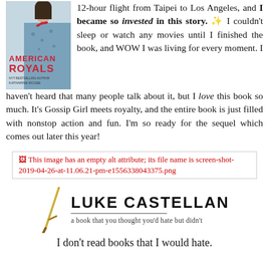[Figure (illustration): Book cover of 'American Royals' by Katharine McGee, showing a young woman in a blue dress with red fingernails against a light background]
12-hour flight from Taipei to Los Angeles, and I became so invested in this story. ✨ I couldn't sleep or watch any movies until I finished the book, and WOW I was living for every moment. I haven't heard that many people talk about it, but I love this book so much. It's Gossip Girl meets royalty, and the entire book is just filled with nonstop action and fun. I'm so ready for the sequel which comes out later this year!
[Figure (other): Broken image placeholder: This image has an empty alt attribute; its file name is screen-shot-2019-04-26-at-11.06.21-pm-e1556338043375.png]
[Figure (illustration): Luke Castellan book prompt section with a golden sword illustration, large title text 'LUKE CASTELLAN' and subtitle 'a book that you thought you'd hate but didn't']
I don't read books that I would hate.